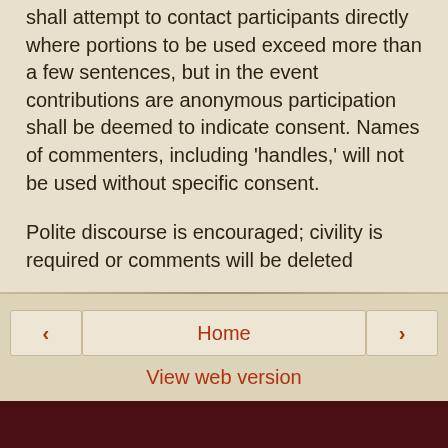shall attempt to contact participants directly where portions to be used exceed more than a few sentences, but in the event contributions are anonymous participation shall be deemed to indicate consent. Names of commenters, including 'handles,' will not be used without specific consent.
Polite discourse is encouraged; civility is required or comments will be deleted
‹
Home
›
View web version